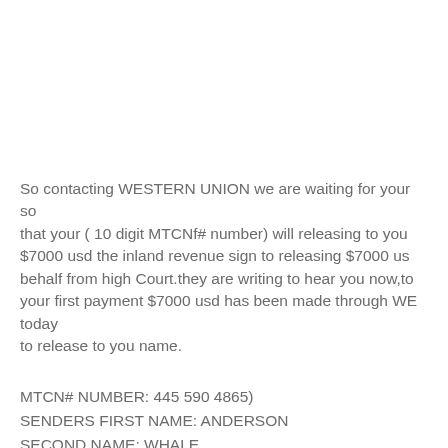So contacting WESTERN UNION we are waiting for your so that your ( 10 digit MTCNf# number) will releasing to you $7000 usd the inland revenue sign to releasing $7000 usd behalf from high Court.they are writing to hear you now,to your first payment $7000 usd has been made through WE today to release to you name.
MTCN# NUMBER: 445 590 4865)
SENDERS FIRST NAME: ANDERSON
SECOND NAME: WHALE